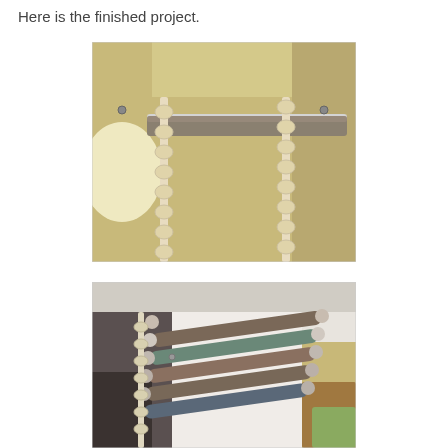Here is the finished project.
[Figure (photo): Close-up photo of a wall-mounted storage rack made from PVC pipe and zip ties, viewed from below. Two vertical strips of zip ties are attached to the ceiling/wall, with a horizontal PVC pipe holding rolled maps or blueprints. The background shows a beige/cream wall.]
[Figure (photo): Angled view of the same wall-mounted storage rack filled with multiple rolled maps or blueprints stacked horizontally on PVC pipes, secured to a white wall with zip ties. A living room is visible in the background with furniture and green cushions.]